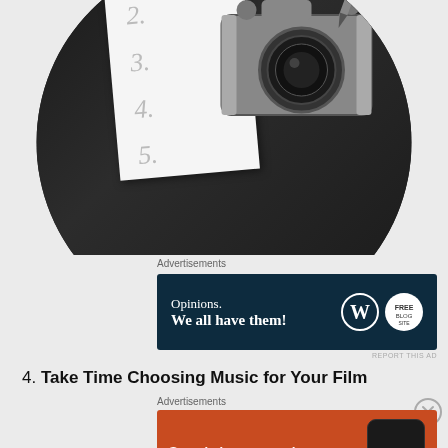[Figure (photo): Circular cropped photo of a vintage camera and notepad with numbered list on a dark wooden surface]
Advertisements
[Figure (other): WordPress advertisement banner: 'Opinions. We all have them!' with WordPress and another logo on dark navy background]
REPORT THIS AD
4. Take Time Choosing Music for Your Film
Advertisements
[Figure (other): DuckDuckGo advertisement: 'Search, browse, and email with more privacy. All in One Free App' on orange background with phone mockup]
REPORT THIS AD